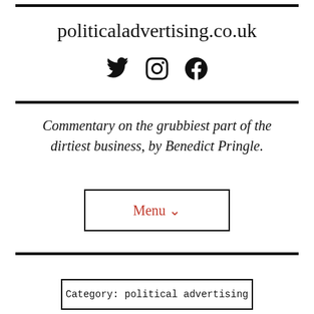politicaladvertising.co.uk
[Figure (other): Social media icons: Twitter, Instagram, Facebook]
Commentary on the grubbiest part of the dirtiest business, by Benedict Pringle.
Menu ˅
Category: political advertising